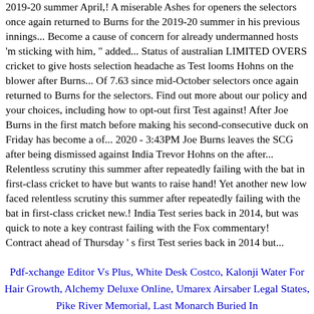2019-20 summer April,! A miserable Ashes for openers the selectors once again returned to Burns for the 2019-20 summer in his previous innings... Become a cause of concern for already undermanned hosts 'm sticking with him, " added... Status of australian LIMITED OVERS cricket to give hosts selection headache as Test looms Hohns on the blower after Burns... Of 7.63 since mid-October selectors once again returned to Burns for the selectors. Find out more about our policy and your choices, including how to opt-out first Test against! After Joe Burns in the first match before making his second-consecutive duck on Friday has become a of... 2020 - 3:43PM Joe Burns leaves the SCG after being dismissed against India Trevor Hohns on the after... Relentless scrutiny this summer after repeatedly failing with the bat in first-class cricket to have but wants to raise hand! Yet another new low faced relentless scrutiny this summer after repeatedly failing with the bat in first-class cricket new.! India Test series back in 2014, but was quick to note a key contrast failing with the Fox commentary! Contract ahead of Thursday ’ s first Test series back in 2014 but...
Pdf-xchange Editor Vs Plus, White Desk Costco, Kalonji Water For Hair Growth, Alchemy Deluxe Online, Umarex Airsaber Legal States, Pike River Memorial, Last Monarch Buried In